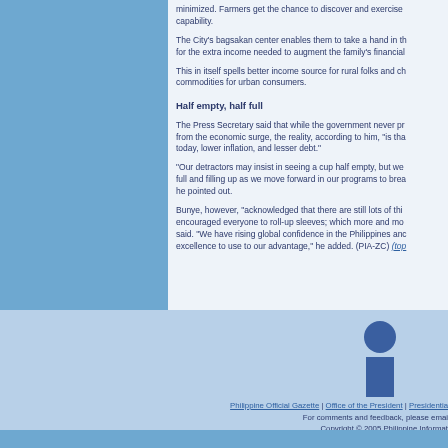minimized. Farmers get the chance to discover and exercise capability.
The City's bagsakan center enables them to take a hand in the for the extra income needed to augment the family's financial
This in itself spells better income source for rural folks and ch commodities for urban consumers.
Half empty, half full
The Press Secretary said that while the government never pr from the economic surge, the reality, according to him, "is tha today, lower inflation, and lesser debt."
"Our detractors may insist in seeing a cup half empty, but we full and filling up as we move forward in our programs to bre he pointed out.
Bunye, however, "acknowledged that there are still lots of thi encouraged everyone to roll-up sleeves; which more and mo said. "We have rising global confidence in the Philippines an excellence to use to our advantage," he added. (PIA-ZC) (top
[Figure (logo): PIA logo - blue circle on top of blue rectangle forming a stylized person/information symbol]
Philippine Official Gazette | Office of the President | Presidentia For comments and feedback, please emai Copyright © 2005 Philippine Informat PIA Building, Visayas Avenue, Diliman, Quezon